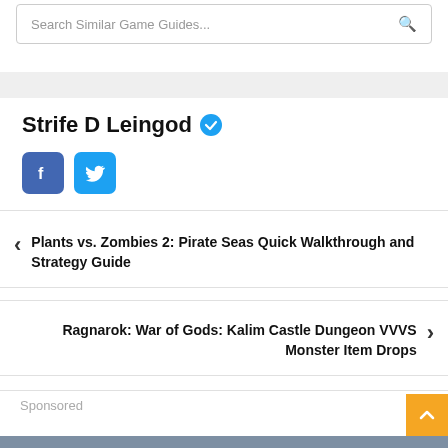Search Similar Game Guides...
Strife D Leingod
[Figure (illustration): Facebook and Twitter social media icon buttons]
Plants vs. Zombies 2: Pirate Seas Quick Walkthrough and Strategy Guide
Ragnarok: War of Gods: Kalim Castle Dungeon VVVS Monster Item Drops
Sponsored
[Figure (other): Advertisement block with steel blue background]